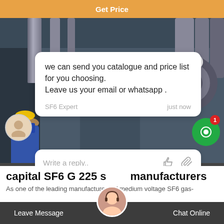Get Price
[Figure (photo): Industrial SF6 gas-insulated switchgear or medium-voltage equipment installation, workers visible, pipes and machinery in background. Chat overlay visible showing message from SF6 Expert. SF6China watermark at bottom right.]
we can send you catalogue and price list for you choosing.
Leave us your email or whatsapp .
SF6 Expert    just now
Write a reply..
capital SF6 G 225 s manufacturers
As one of the leading manufacturers of medium voltage SF6 gas-
Leave Message    Chat Online